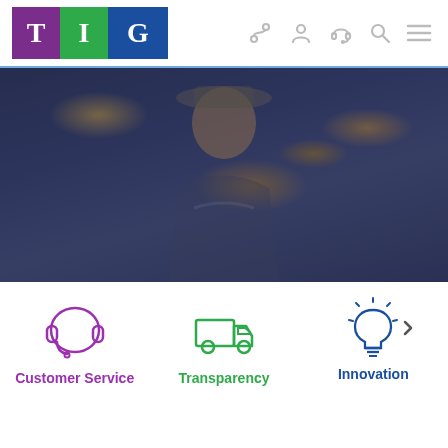[Figure (logo): TIG logo with three colored squares: purple T, green I, blue G]
[Figure (screenshot): Navigation bar with icons: route, person, headset, search, menu hamburger]
[Figure (photo): Hero image showing a person in a restaurant/bar setting with dark blue overlay]
[Figure (illustration): Customer Service icon: purple headset/headphones illustration]
Customer Service
[Figure (illustration): Transparency icon: green delivery truck illustration]
Transparency
[Figure (illustration): Innovation icon: blue lightbulb with rays illustration]
Innovation